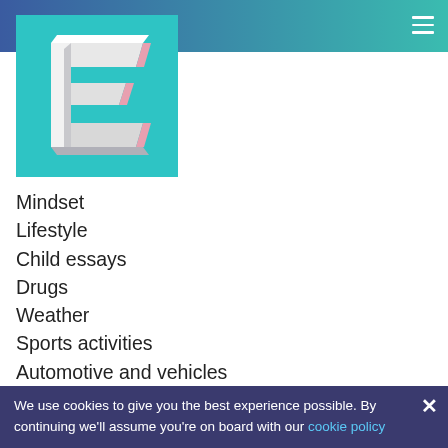[Figure (logo): 3D letter E logo on teal background]
Mindset
Lifestyle
Child essays
Drugs
Weather
Sports activities
Automotive and vehicles
Personal issues
Argumentative essays
Used arts documents
Religious beliefs and spiritual techniques
We use cookies to give you the best experience possible. By continuing we'll assume you're on board with our cookie policy